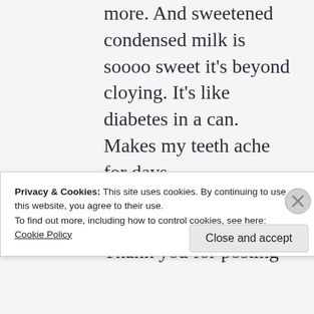more. And sweetened condensed milk is soooo sweet it's beyond cloying. It's like diabetes in a can. Makes my teeth ache for days.
Okay. I am done being dramatic.
Thank you for posting
Privacy & Cookies: This site uses cookies. By continuing to use this website, you agree to their use.
To find out more, including how to control cookies, see here: Cookie Policy
Close and accept